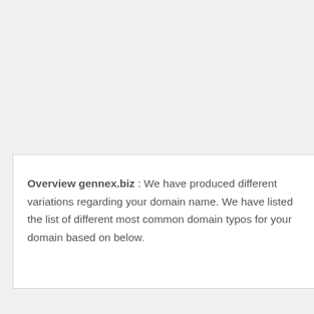Overview gennex.biz : We have produced different variations regarding your domain name. We have listed the list of different most common domain typos for your domain based on below.